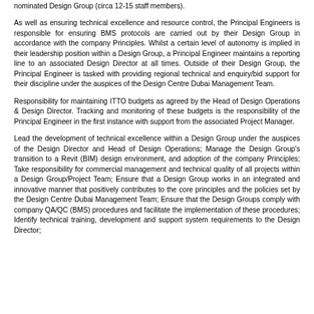nominated Design Group (circa 12-15 staff members).
As well as ensuring technical excellence and resource control, the Principal Engineers is responsible for ensuring BMS protocols are carried out by their Design Group in accordance with the company Principles. Whilst a certain level of autonomy is implied in their leadership position within a Design Group, a Principal Engineer maintains a reporting line to an associated Design Director at all times. Outside of their Design Group, the Principal Engineer is tasked with providing regional technical and enquiry/bid support for their discipline under the auspices of the Design Centre Dubai Management Team.
Responsibility for maintaining ITTO budgets as agreed by the Head of Design Operations & Design Director. Tracking and monitoring of these budgets is the responsibility of the Principal Engineer in the first instance with support from the associated Project Manager.
Lead the development of technical excellence within a Design Group under the auspices of the Design Director and Head of Design Operations; Manage the Design Group's transition to a Revit (BIM) design environment, and adoption of the company Principles; Take responsibility for commercial management and technical quality of all projects within a Design Group/Project Team; Ensure that a Design Group works in an integrated and innovative manner that positively contributes to the core principles and the policies set by the Design Centre Dubai Management Team; Ensure that the Design Groups comply with company QA/QC (BMS) procedures and facilitate the implementation of these procedures; Identify technical training, development and support system requirements to the Design Director;